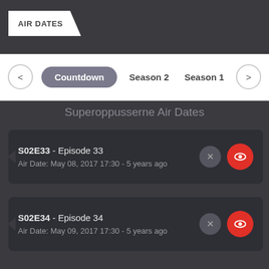AIR DATES
Countdown  Season 2  Season 1
Superoppusserne Air Dates
S02E33 - Episode 33
Air Date: May 08, 2017 17:30 - 5 years ago
S02E34 - Episode 34
Air Date: May 09, 2017 17:30 - 5 years ago